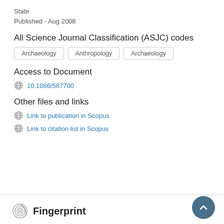State
Published - Aug 2008
All Science Journal Classification (ASJC) codes
Archaeology | Anthropology | Archaeology
Access to Document
10.1086/587700
Other files and links
Link to publication in Scopus
Link to citation list in Scopus
Fingerprint